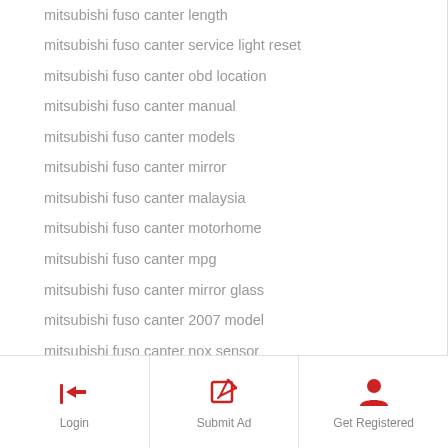mitsubishi fuso canter length
mitsubishi fuso canter service light reset
mitsubishi fuso canter obd location
mitsubishi fuso canter manual
mitsubishi fuso canter models
mitsubishi fuso canter mirror
mitsubishi fuso canter malaysia
mitsubishi fuso canter motorhome
mitsubishi fuso canter mpg
mitsubishi fuso canter mirror glass
mitsubishi fuso canter 2007 model
mitsubishi fuso canter nox sensor
mitsubishi fuso canter not starting
mitsubishi fuso canter wheel nut torque
new mitsubishi fuso canter price
mitsubishi fuso canter nahradne diely
Login | Submit Ad | Get Registered